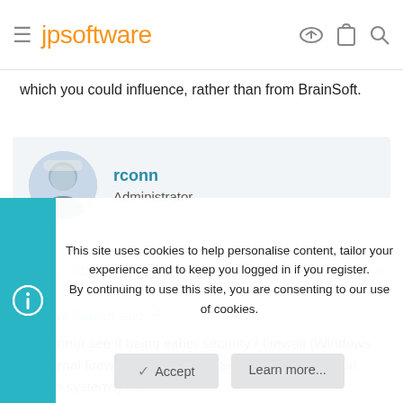jpsoftware
which you could influence, rather than from BrainSoft.
rconn
Administrator
Dec 31, 2013  #5
Steve Fabian said:
I cannot see it being either security / firewall (Windows internal firewall and Microsoft Security Essentials on both systems) nor
This site uses cookies to help personalise content, tailor your experience and to keep you logged in if you register.
By continuing to use this site, you are consenting to our use of cookies.